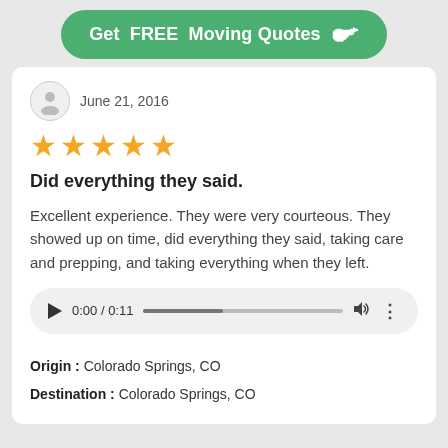[Figure (other): Green CTA button with text 'Get FREE Moving Quotes' and hand/pointing icon]
June 21, 2016
[Figure (other): 5 orange/yellow stars rating]
Did everything they said.
Excellent experience. They were very courteous. They showed up on time, did everything they said, taking care and prepping, and taking everything when they left.
[Figure (other): Audio player widget showing 0:00 / 0:11 with play button, progress bar, volume and more icon]
Origin : Colorado Springs, CO
Destination : Colorado Springs, CO